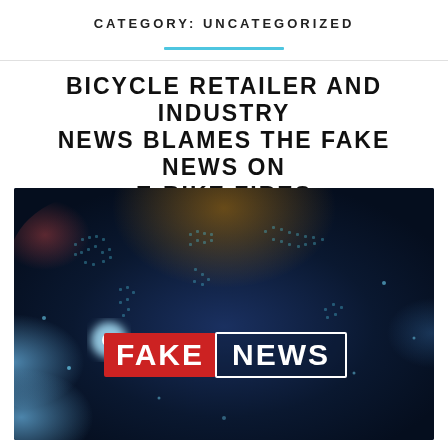CATEGORY: UNCATEGORIZED
BICYCLE RETAILER AND INDUSTRY NEWS BLAMES THE FAKE NEWS ON E-BIKE FIRES
May 28, 2022  jimmymac
[Figure (illustration): Dark globe/world map background with blue light effects and a 'FAKE NEWS' banner: 'FAKE' on red background, 'NEWS' in white outline box]